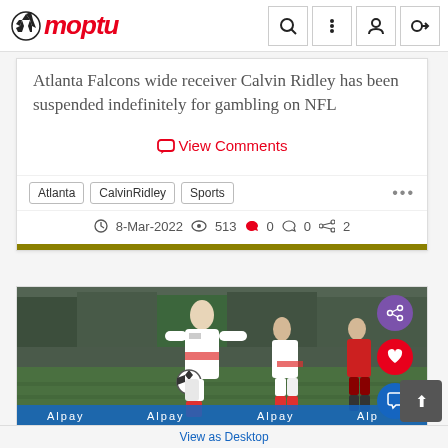Moptu
Atlanta Falcons wide receiver Calvin Ridley has been suspended indefinitely for gambling on NFL
💬 View Comments
Atlanta  CalvinRidley  Sports  ...
🕐 8-Mar-2022  👁 513  ❤ 0  💬 0  🔗 2
[Figure (photo): Soccer player in white Poland jersey running with a ball, another player in white jersey behind, opposing player in red jersey visible on right, crowd in background, blue sponsor banner at bottom reading Alpay]
Dave Koomer